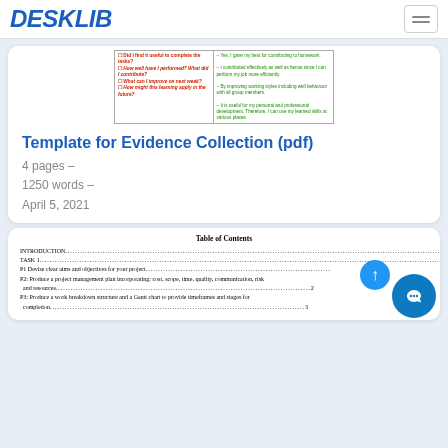DESKLIB
[Figure (table-as-image): Partial table showing reflection questions in red/bold and answers in green text]
Template for Evidence Collection (pdf)
4 pages –
1250 words –
April 5, 2021
Table of Contents
| INTRODUCTION | 1 |
| TASK 1 | 1 |
| P1 Devise clear aims and objectives for your project | 1 |
| P2: Produce a project management plan incorporating: cost, scope, time, quality, communication, risk and resources | 2 |
| P3: Produce a work breakdown structure and a Gantt chart to provide timeframes and stages for completion | 3 |